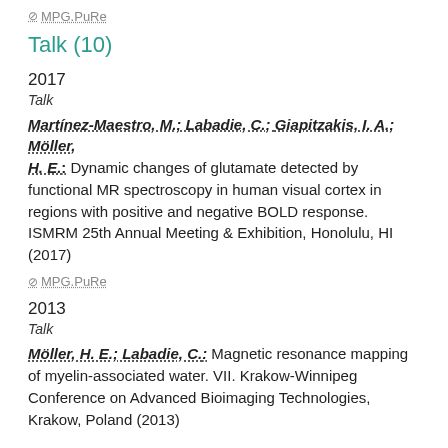MPG.PuRe
Talk (10)
2017
Talk
Martínez-Maestro, M.; Labadie, C.; Giapitzakis, I. A.; Möller, H. E.: Dynamic changes of glutamate detected by functional MR spectroscopy in human visual cortex in regions with positive and negative BOLD response. ISMRM 25th Annual Meeting & Exhibition, Honolulu, HI (2017)
MPG.PuRe
2013
Talk
Möller, H. E.; Labadie, C.: Magnetic resonance mapping of myelin-associated water. VII. Krakow-Winnipeg Conference on Advanced Bioimaging Technologies, Krakow, Poland (2013)